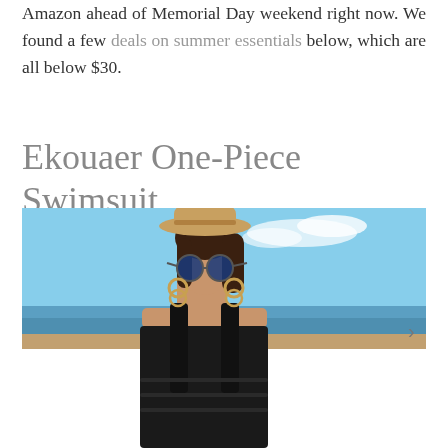Amazon ahead of Memorial Day weekend right now. We found a few deals on summer essentials below, which are all below $30.
Ekouaer One-Piece Swimsuit
[Figure (photo): Woman wearing a black one-piece swimsuit, round blue-mirrored sunglasses, a tan straw hat, and large hoop earrings, standing at a beach with blue sky and ocean in the background.]